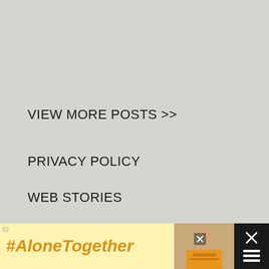VIEW MORE POSTS >>
PRIVACY POLICY
WEB STORIES
[Figure (other): Advertisement banner for #AloneTogether campaign with a photo of a woman and close/dismiss buttons on dark background]